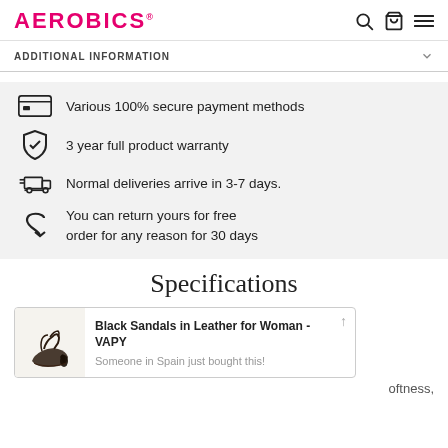AEROBICS
ADDITIONAL INFORMATION
Various 100% secure payment methods
3 year full product warranty
Normal deliveries arrive in 3-7 days.
You can return yours for free order for any reason for 30 days
Specifications
[Figure (other): Popup card showing Black Sandals in Leather for Woman - VAPY with shoe image and text: Someone in Spain just bought this!]